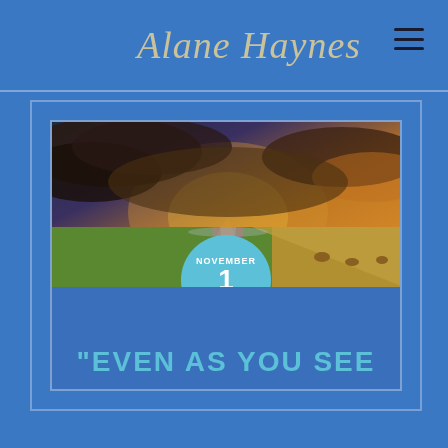Alane Haynes
[Figure (photo): Dramatic landscape photo showing a dirt road leading through green and golden fields under a stormy golden-lit sky with dramatic clouds]
NOVEMBER 1 2019
"EVEN AS YOU SEE